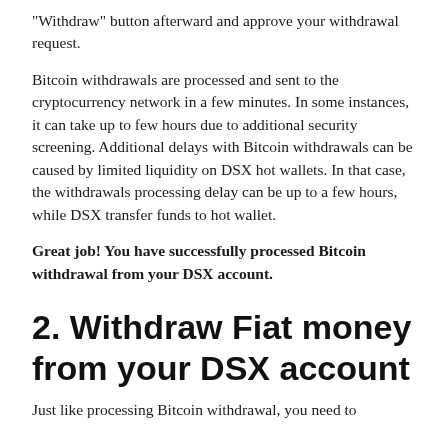“Withdraw” button afterward and approve your withdrawal request.
Bitcoin withdrawals are processed and sent to the cryptocurrency network in a few minutes. In some instances, it can take up to few hours due to additional security screening. Additional delays with Bitcoin withdrawals can be caused by limited liquidity on DSX hot wallets. In that case, the withdrawals processing delay can be up to a few hours, while DSX transfer funds to hot wallet.
Great job! You have successfully processed Bitcoin withdrawal from your DSX account.
2. Withdraw Fiat money from your DSX account
Just like processing Bitcoin withdrawal, you need to